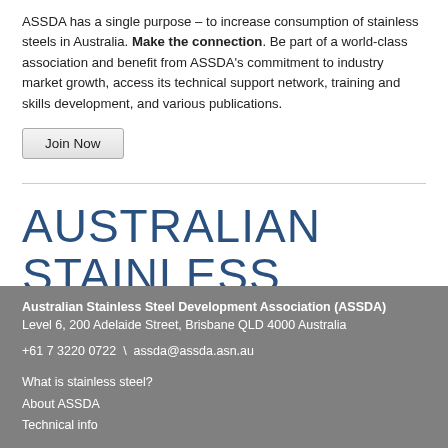ASSDA has a single purpose – to increase consumption of stainless steels in Australia. Make the connection. Be part of a world-class association and benefit from ASSDA's commitment to industry market growth, access its technical support network, training and skills development, and various publications.
Join Now
AUSTRALIAN STAINLESS
Australian Stainless Steel Development Association (ASSDA)
Level 6, 200 Adelaide Street, Brisbane QLD 4000 Australia
+61 7 3220 0722 \ assda@assda.asn.au
What is stainless steel?
About ASSDA
Technical info